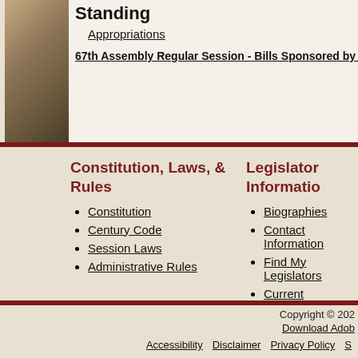Standing
Appropriations
67th Assembly Regular Session - Bills Sponsored by Senator
Constitution, Laws, & Rules
Constitution
Century Code
Session Laws
Administrative Rules
Legislator Information
Biographies
Contact Information
Find My Legislators
Current Legislators by D
Current Legislative Distri
Historical Legislative Dis
Copyright © 202  Download Adob  Accessibility  Disclaimer  Privacy Policy  S